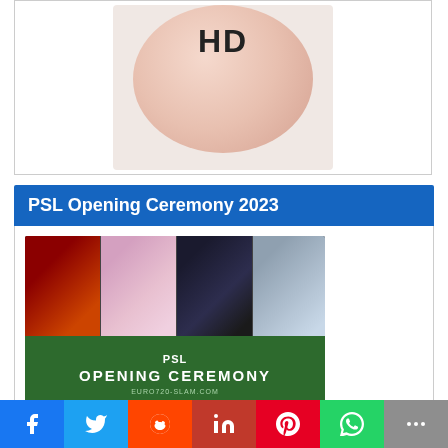[Figure (photo): Cricket ball with HD text on top, sitting on white surface]
PSL Opening Ceremony 2023
[Figure (photo): PSL Opening Ceremony promotional image showing four celebrities above a green banner reading PSL OPENING CEREMONY with euro720-slam.com URL]
Facebook Twitter Reddit LinkedIn Pinterest WhatsApp Share